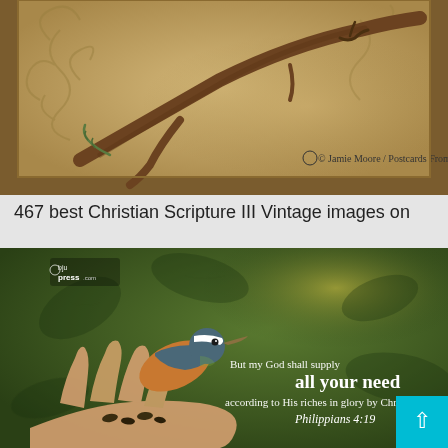[Figure (illustration): Vintage postcard style illustration showing a bird perched on a gnarled branch against a worn parchment-colored background with decorative swirl patterns. Copyright text reads: © Jamie Moore / Postcards From God]
467 best Christian Scripture III Vintage images on
[Figure (photo): A colorful bird (nuthatch) perched on a human hand against a dark green leafy background. White text overlay reads: 'But my God shall supply all your need according to His riches in glory by Christ Jesus. Philippians 4:19'. Logo in top-left: bjupress.com. Teal back-to-top button in bottom-right corner with upward arrow.]